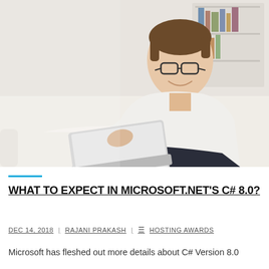[Figure (photo): Young man with glasses sitting on a white sofa, smiling and using a laptop computer, bookshelf visible in background]
WHAT TO EXPECT IN MICROSOFT.NET'S C# 8.0?
DEC 14, 2018 | RAJANI PRAKASH | HOSTING AWARDS
Microsoft has fleshed out more details about C# Version 8.0